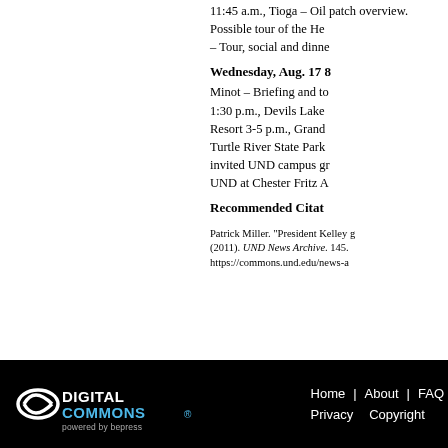11:45 a.m., Tioga – Oil patch overview. Possible tour of the He... – Tour, social and dinne...
Wednesday, Aug. 17 8...
Minot – Briefing and to... 1:30 p.m., Devils Lake... Resort 3-5 p.m., Grand... Turtle River State Park... invited UND campus gr... UND at Chester Fritz A...
Recommended Citat...
Patrick Miller. "President Kelley g... (2011). UND News Archive. 145. https://commons.und.edu/news-a...
Home | About | FAQ  Privacy  Copyright